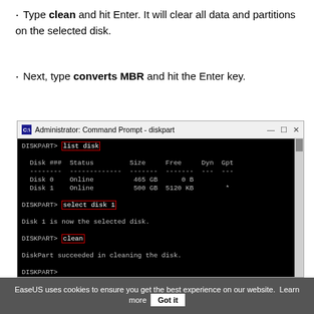Type clean and hit Enter. It will clear all data and partitions on the selected disk.
Next, type converts MBR and hit the Enter key.
[Figure (screenshot): Windows Command Prompt (diskpart) screenshot showing commands: list disk, select disk 1, clean, convert mbr with their outputs. The commands list disk, select disk 1, clean, and convert mbr are highlighted with red boxes.]
EaseUS uses cookies to ensure you get the best experience on our website. Learn more  Got it